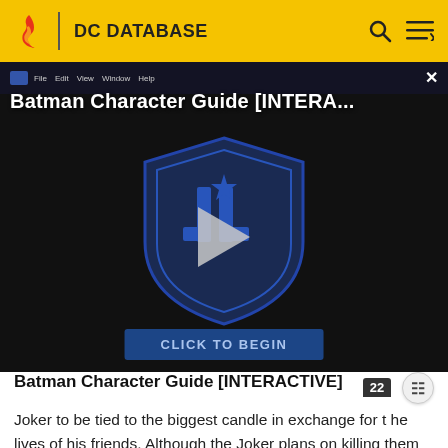DC DATABASE
[Figure (screenshot): Batman Character Guide [INTERACTIVE] video thumbnail with Justice League shield logo and play button on dark background, with 'CLICK TO BEGIN' button at bottom]
Batman Character Guide [INTERACTIVE]
Joker to be tied to the biggest candle in exchange for the lives of his friends. Although the Joker plans on killing them all anyway, Batman reveals he had earlier through a simple operation converted the biggest explosive candle